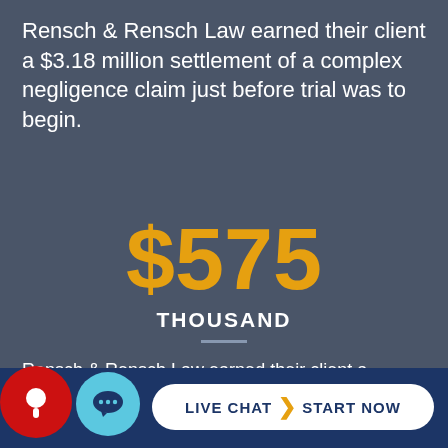Rensch & Rensch Law earned their client a $3.18 million settlement of a complex negligence claim just before trial was to begin.
$575
THOUSAND
Rensch & Rensch Law earned their client a $575,000 result during trial of a slip and fall claim against a prominent Omaha landmark.
LIVE CHAT  START NOW